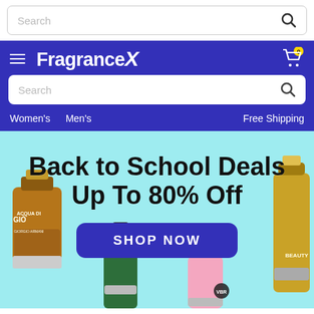[Figure (screenshot): FragranceX website screenshot showing search bars, navigation with Women's, Men's, Free Shipping links, and a Back to School Deals banner with perfume bottles]
Search
FragranceX
Search
Women's   Men's   Free Shipping
Back to School Deals Up To 80% Off
SHOP NOW